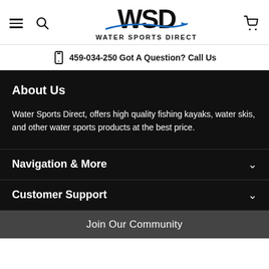[Figure (logo): WSD Water Sports Direct logo with blue swoosh/arrow graphic]
459-034-250  Got A Question? Call Us
About Us
Water Sports Direct, offers high quality fishing kayaks, water skis, and other water sports products at the best price.
Navigation & More
Customer Support
F
Join Our Community